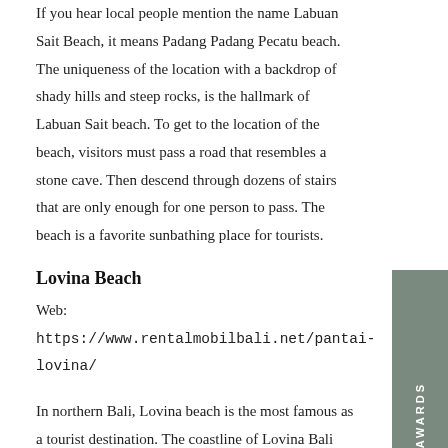If you hear local people mention the name Labuan Sait Beach, it means Padang Padang Pecatu beach. The uniqueness of the location with a backdrop of shady hills and steep rocks, is the hallmark of Labuan Sait beach. To get to the location of the beach, visitors must pass a road that resembles a stone cave. Then descend through dozens of stairs that are only enough for one person to pass. The beach is a favorite sunbathing place for tourists.
Lovina Beach
Web: https://www.rentalmobilbali.net/pantai-lovina/
In northern Bali, Lovina beach is the most famous as a tourist destination. The coastline of Lovina Bali faces the north side, so from the coastline you cannot see the sunrise and sunset in full. If you want to see souvenir shops and local food stalls, walk to the east from the area you enter. The most famous tourist attraction in Lovina is seeing dolphins. You have to go out to sea very early in the morning to see them, usually before sunrise. In high season, hundreds of fishing boats